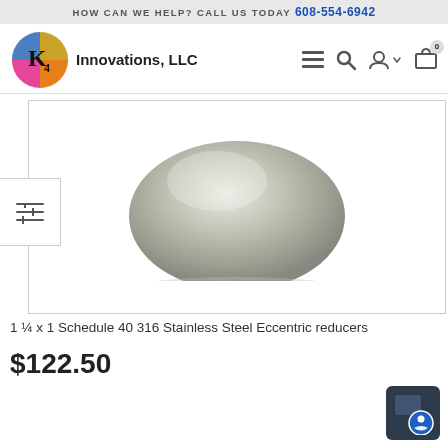HOW CAN WE HELP? CALL US TODAY 608-554-6942
[Figure (logo): K4 Innovations LLC circular logo with colored quadrants (blue, gold, pink, orange) and K4 text]
Innovations, LLC
[Figure (photo): Stainless steel eccentric reducer pipe fitting, dome/cap shaped, metallic silver finish]
1 ¼ x 1 Schedule 40 316 Stainless Steel Eccentric reducers
$122.50